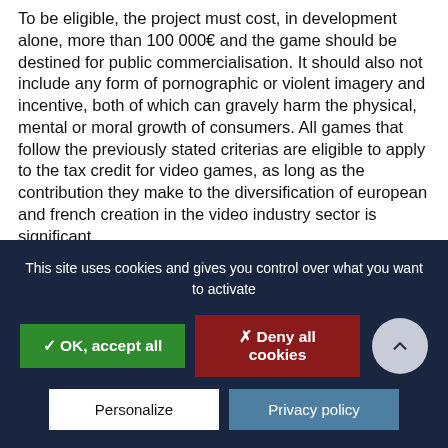To be eligible, the project must cost, in development alone, more than 100 000€ and the game should be destined for public commercialisation. It should also not include any form of pornographic or violent imagery and incentive, both of which can gravely harm the physical, mental or moral growth of consumers. All games that follow the previously stated criterias are eligible to apply to the tax credit for video games, as long as the contribution they make to the diversification of european and french creation in the video industry sector is significant.
This site uses cookies and gives you control over what you want to activate
✓ OK, accept all
✗ Deny all cookies
Personalize
Privacy policy